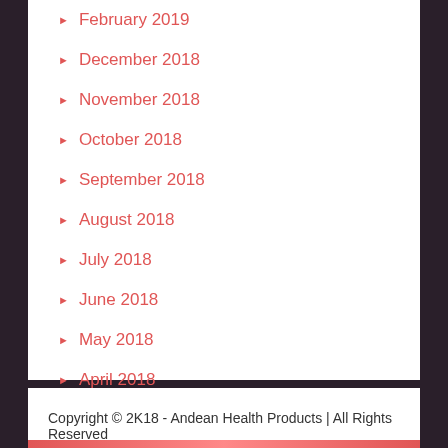February 2019
December 2018
November 2018
October 2018
September 2018
August 2018
July 2018
June 2018
May 2018
April 2018
Copyright © 2K18 - Andean Health Products | All Rights Reserved